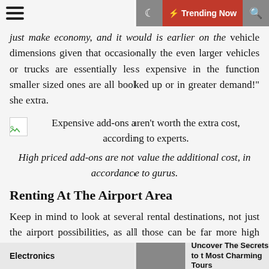Trending Now
just make economy, and it would is earlier on the vehicle dimensions given that occasionally the even larger vehicles or trucks are essentially less expensive in the function smaller sized ones are all booked up or in greater demand!" she extra.
Expensive add-ons aren't worth the extra cost, according to experts.
High priced add-ons are not value the additional cost, in accordance to gurus.
Renting At The Airport Area
Keep in mind to look at several rental destinations, not just the airport possibilities, as all those can be far more high priced.
Electronics    Uncover The Secrets to Most Charming Tours